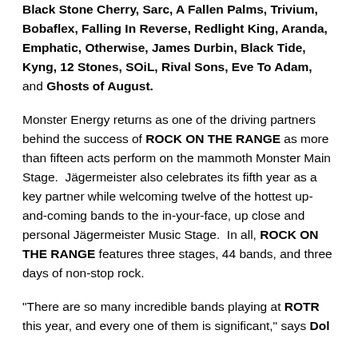Black Stone Cherry, Sarc, A Fallen Palms, Trivium, Bobaflex, Falling In Reverse, Redlight King, Aranda, Emphatic, Otherwise, James Durbin, Black Tide, Kyng, 12 Stones, SOiL, Rival Sons, Eve To Adam, and Ghosts of August.
Monster Energy returns as one of the driving partners behind the success of ROCK ON THE RANGE as more than fifteen acts perform on the mammoth Monster Main Stage. Jägermeister also celebrates its fifth year as a key partner while welcoming twelve of the hottest up-and-coming bands to the in-your-face, up close and personal Jägermeister Music Stage. In all, ROCK ON THE RANGE features three stages, 44 bands, and three days of non-stop rock.
"There are so many incredible bands playing at ROTR this year, and every one of them is significant," says Dol